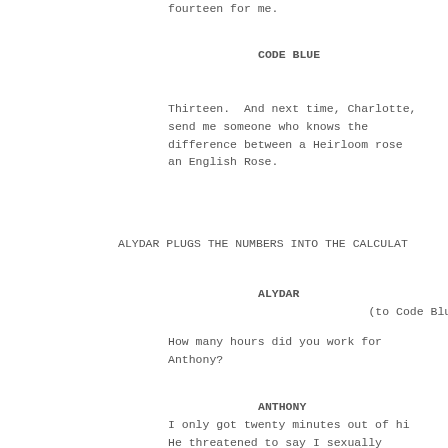fourteen for me.
CODE BLUE
Thirteen.  And next time, Charlotte,
send me someone who knows the
difference between a Heirloom rose
an English Rose.
ALYDAR PLUGS THE NUMBERS INTO THE CALCULAT
ALYDAR
(to Code Blue)
How many hours did you work for
Anthony?
ANTHONY
I only got twenty minutes out of hi
He threatened to say I sexually